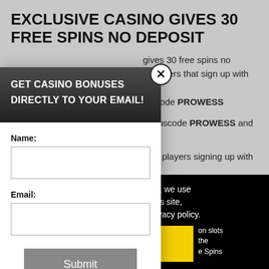EXCLUSIVE CASINO GIVES 30 FREE SPINS NO DEPOSIT
gives 30 free spins no deposit to new players that sign up with the bonuscode PROWESS
bonuscode PROWESS and no deposit
new players signing up with
perience, we use cookies. Using this site, you accept our cookie & privacy policy.
[Figure (screenshot): Email signup modal popup with dark header 'GET CASINO BONUSES DIRECTLY TO YOUR EMAIL!', name and email input fields, submit button, and privacy policy footnote. A close button (X) appears at top right of modal.]